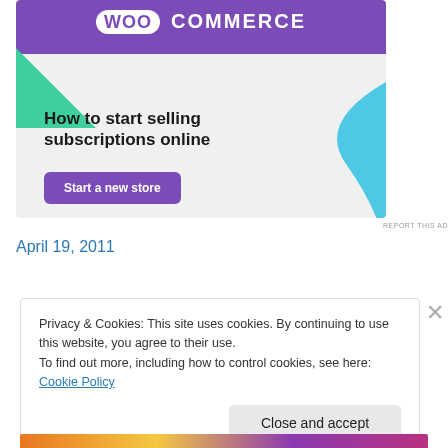[Figure (illustration): WooCommerce advertisement banner with purple top bar showing WooCommerce logo, green triangle shape on left, blue curved shape on right, headline 'How to start selling subscriptions online', and a purple 'Start a new store' button on a light grey background.]
REPORT THIS AD
April 19, 2011
Privacy & Cookies: This site uses cookies. By continuing to use this website, you agree to their use.
To find out more, including how to control cookies, see here: Cookie Policy
Close and accept